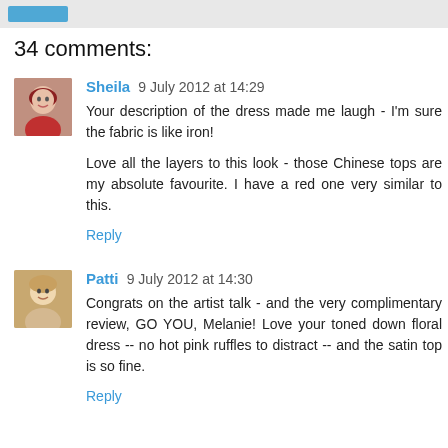34 comments:
Sheila 9 July 2012 at 14:29
Your description of the dress made me laugh - I'm sure the fabric is like iron!

Love all the layers to this look - those Chinese tops are my absolute favourite. I have a red one very similar to this.
Reply
Patti 9 July 2012 at 14:30
Congrats on the artist talk - and the very complimentary review, GO YOU, Melanie! Love your toned down floral dress -- no hot pink ruffles to distract -- and the satin top is so fine.
Reply